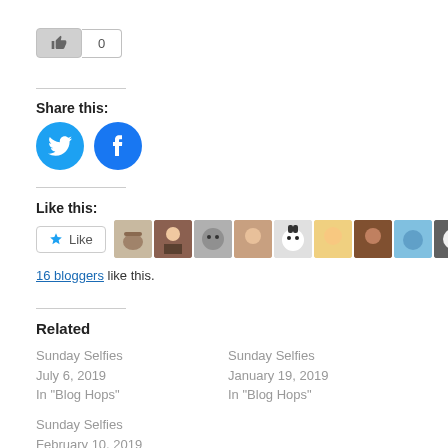[Figure (other): Like button with thumbs up icon and count of 0]
Share this:
[Figure (other): Twitter and Facebook circular share buttons]
Like this:
[Figure (other): Like widget with star button and 10 blogger avatar thumbnails]
16 bloggers like this.
Related
Sunday Selfies
July 6, 2019
In "Blog Hops"
Sunday Selfies
January 19, 2019
In "Blog Hops"
Sunday Selfies
February 10, 2019